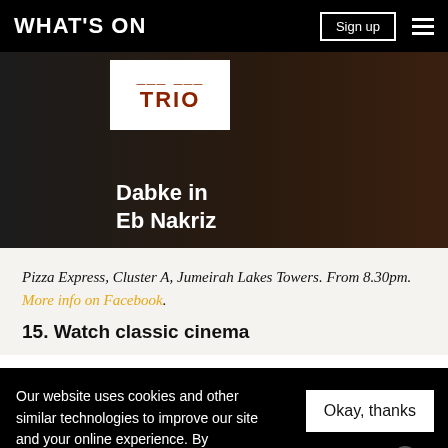WHAT'S ON
[Figure (photo): Concert promotional image with dark background. White card overlay showing 'TRIO' text in bold red. White bold text overlay reads 'Dabke in Eb Nakriz']
Pizza Express, Cluster A, Jumeirah Lakes Towers. From 8.30pm. More info on Facebook.
15. Watch classic cinema
Our website uses cookies and other similar technologies to improve our site and your online experience. By continuing to use our website you conse... our pr...